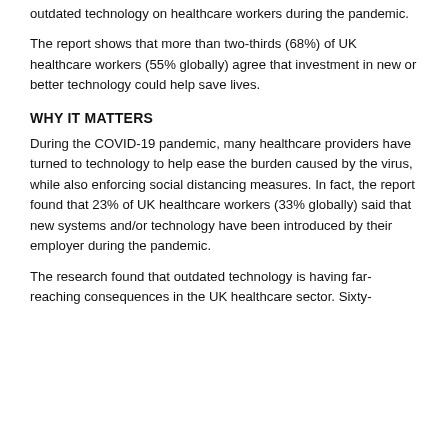outdated technology on healthcare workers during the pandemic.
The report shows that more than two-thirds (68%) of UK healthcare workers (55% globally) agree that investment in new or better technology could help save lives.
WHY IT MATTERS
During the COVID-19 pandemic, many healthcare providers have turned to technology to help ease the burden caused by the virus, while also enforcing social distancing measures. In fact, the report found that 23% of UK healthcare workers (33% globally) said that new systems and/or technology have been introduced by their employer during the pandemic.
The research found that outdated technology is having far-reaching consequences in the UK healthcare sector. Sixty-